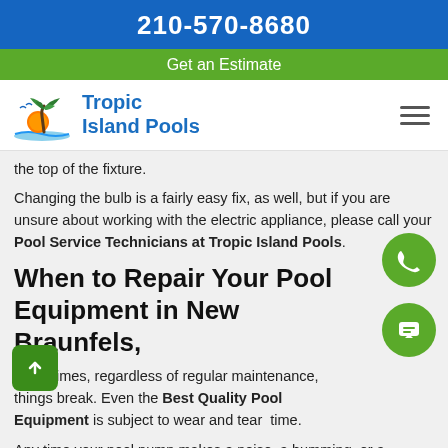210-570-8680
Get an Estimate
[Figure (logo): Tropic Island Pools logo with palm tree and sunset graphic]
the top of the fixture.
Changing the bulb is a fairly easy fix, as well, but if you are unsure about working with the electric appliance, please call your Pool Service Technicians at Tropic Island Pools.
When to Repair Your Pool Equipment in New Braunfels,
Sometimes, regardless of regular maintenance, things break. Even the Best Quality Pool Equipment is subject to wear and tear over time.
Any time your pool pump makes a noise, a humming, or a